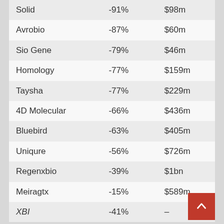| Solid | -91% | $98m |
| Avrobio | -87% | $60m |
| Sio Gene | -79% | $46m |
| Homology | -77% | $159m |
| Taysha | -77% | $229m |
| 4D Molecular | -66% | $436m |
| Bluebird | -63% | $405m |
| Uniqure | -56% | $726m |
| Regenxbio | -39% | $1bn |
| Meiragtx | -15% | $589m |
| XBI | -41% | – |